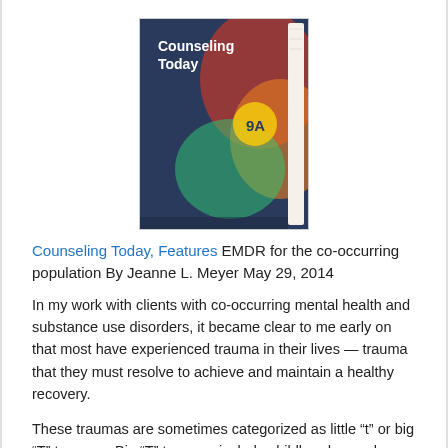[Figure (photo): Cover of Counseling Today magazine showing a book with colorful cover design and '9A' visible on the front.]
Counseling Today, Features EMDR for the co-occurring population By Jeanne L. Meyer May 29, 2014
In my work with clients with co-occurring mental health and substance use disorders, it became clear to me early on that most have experienced trauma in their lives — trauma that they must resolve to achieve and maintain a healthy recovery.
These traumas are sometimes categorized as little “t” or big “T” traumas. Big “T” traumas include childhood sexual, physical or emotional abuse, natural disasters, war experiences, severe car accidents and rape. Little “t” traumas can be just as damaging, especially because they tend to occur over time and build on each other. This complicates the overall effects of the trauma as well as the trauma treatment. Some examples of little “t” traumas